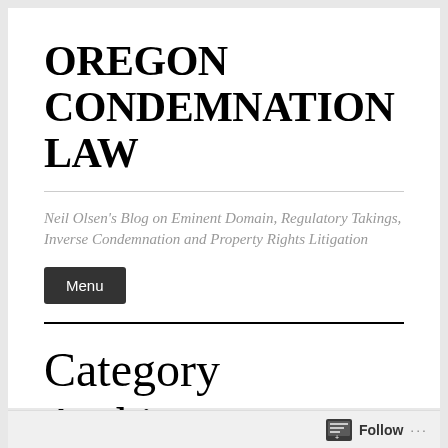OREGON CONDEMNATION LAW
Neil Olsen's Blog on Eminent Domain, Regulatory Takings, Inverse Condemnation and Property Rights Litigation
Menu
Category Archives: Eminent Domain
Follow ...